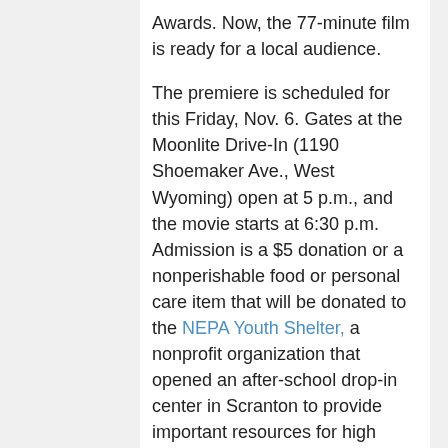Awards. Now, the 77-minute film is ready for a local audience.
The premiere is scheduled for this Friday, Nov. 6. Gates at the Moonlite Drive-In (1190 Shoemaker Ave., West Wyoming) open at 5 p.m., and the movie starts at 6:30 p.m. Admission is a $5 donation or a nonperishable food or personal care item that will be donated to the NEPA Youth Shelter, a nonprofit organization that opened an after-school drop-in center in Scranton to provide important resources for high school students in need. For more details, visit the Facebook event page.
“F-Word” is a story about love, acceptance, understanding, and support, and Schnappauf found an amazing level of community support when shooting began. The entire cast and crew – from lead actors to makeup artists and electricians – volunteered their time to bring “F-Word” to life. A successful Kickstarter campaign